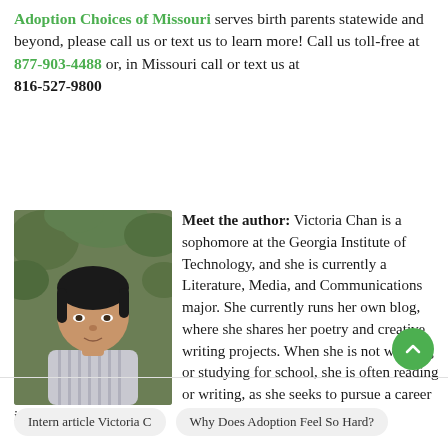Adoption Choices of Missouri serves birth parents statewide and beyond, please call us or text us to learn more! Call us toll-free at 877-903-4488 or, in Missouri call or text us at 816-527-9800
[Figure (photo): Headshot photo of Victoria Chan, a young woman with short dark hair wearing a striped shirt, outdoors with green foliage in background]
Meet the author: Victoria Chan is a sophomore at the Georgia Institute of Technology, and she is currently a Literature, Media, and Communications major. She currently runs her own blog, where she shares her poetry and creative writing projects. When she is not working or studying for school, she is often reading or writing, as she seeks to pursue a career in writing.
Intern article Victoria C   Why Does Adoption Feel So Hard?